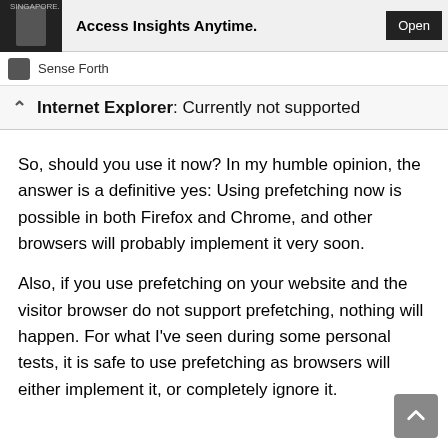[Figure (screenshot): Advertisement banner with dark image on left, bold text 'Access Insights Anytime.' and an 'Open' button on dark background, with 'SINGAPORE.' text visible in top area]
Sense Forth
Internet Explorer: Currently not supported
So, should you use it now? In my humble opinion, the answer is a definitive yes: Using prefetching now is possible in both Firefox and Chrome, and other browsers will probably implement it very soon.
Also, if you use prefetching on your website and the visitor browser do not support prefetching, nothing will happen. For what I've seen during some personal tests, it is safe to use prefetching as browsers will either implement it, or completely ignore it.